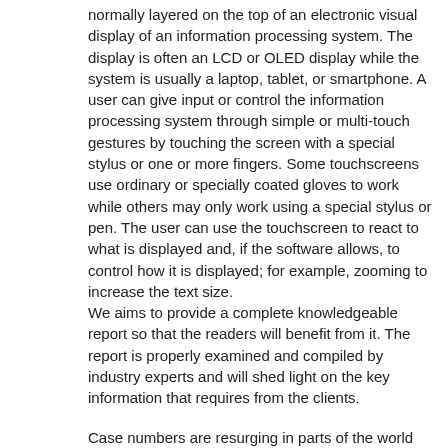normally layered on the top of an electronic visual display of an information processing system. The display is often an LCD or OLED display while the system is usually a laptop, tablet, or smartphone. A user can give input or control the information processing system through simple or multi-touch gestures by touching the screen with a special stylus or one or more fingers. Some touchscreens use ordinary or specially coated gloves to work while others may only work using a special stylus or pen. The user can use the touchscreen to react to what is displayed and, if the software allows, to control how it is displayed; for example, zooming to increase the text size.
We aims to provide a complete knowledgeable report so that the readers will benefit from it. The report is properly examined and compiled by industry experts and will shed light on the key information that requires from the clients.
Case numbers are resurging in parts of the world where the COVID-19 pandemic was waning, falling in places that saw huge surges recently, and just beginning to rise in previously little-impacted parts of the globe.
Studying and analyzing the impact of Coronavirus COVID-19 on the Touch Screen Module industry, the report provide in-depth analysis and professtional advices on how to face the post COIVD-19 period.